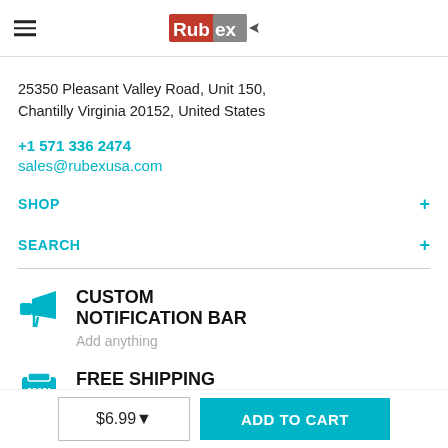Rubex (logo)
25350 Pleasant Valley Road, Unit 150, Chantilly Virginia 20152, United States
+1 571 336 2474
sales@rubexusa.com
SHOP +
SEARCH +
CUSTOM NOTIFICATION BAR
Add anything
FREE SHIPPING FOR ORDER OVER $200
$6.99   ADD TO CART